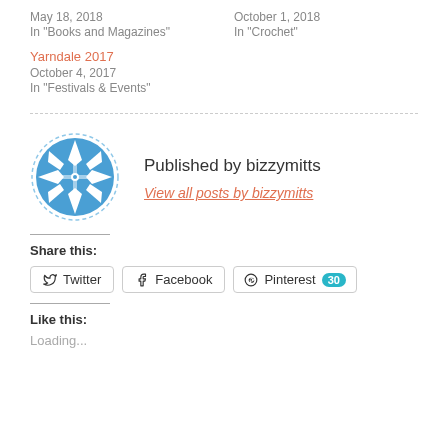May 18, 2018
In "Books and Magazines"
October 1, 2018
In "Crochet"
Yarndale 2017
October 4, 2017
In "Festivals & Events"
[Figure (illustration): Circular avatar logo with blue and white geometric star/snowflake pattern, dashed border circle]
Published by bizzymitts
View all posts by bizzymitts
Share this:
Twitter  Facebook  Pinterest 30
Like this:
Loading...